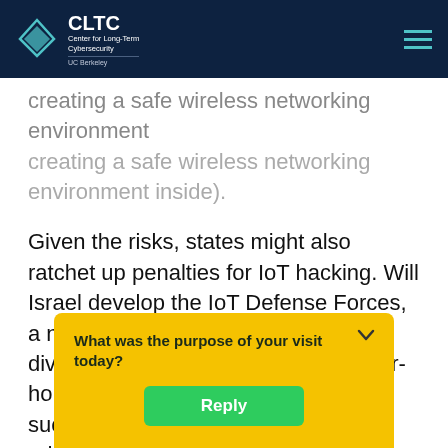CLTC | Center for Long-Term Cybersecurity | UC Berkeley
creating a safe wireless networking environment inside).
Given the risks, states might also ratchet up penalties for IoT hacking. Will Israel develop the IoT Defense Forces, a new military or law enforcement division designed to “protect the cyber-homeland”? More mundane moves—such as governments requiring adherence to particular system designs to “harden” the nation’s IoT systems, or s[tandardize approval processes]—are likely, but will [also] pro-innova[te]... What
[Figure (other): Survey popup overlay with gold background, asking 'What was the purpose of your visit today?' with a green Reply button and a chevron/collapse arrow at top right.]